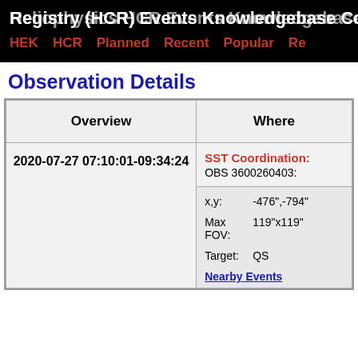Registry (HCR) Events Knowledgebase Coverage / Heliophysics HCR Events Knowledgebase Coverage
HEK
HCR
Planned
Recent
Popular
Re...
Observation Details
| Overview | Where |
| --- | --- |
| 2020-07-27 07:10:01-09:34:24 | SST Coordination: OBS 3600260403:
x,y: -476",-794"
Max FOV: 119"x119"
Target: QS
Nearby Events |